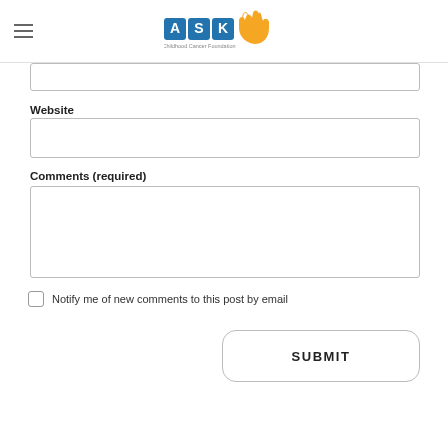[Figure (logo): ASK Childhood Cancer Foundation logo with blue tiles spelling 'ASK' and an orange hand silhouette]
Website
Comments (required)
Notify me of new comments to this post by email
SUBMIT